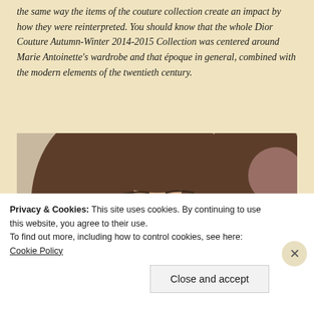the same way the items of the couture collection create an impact by how they were reinterpreted. You should know that the whole Dior Couture Autumn-Winter 2014-2015 Collection was centered around Marie Antoinette's wardrobe and that époque in general, combined with the modern elements of the twentieth century.
[Figure (photo): Close-up portrait photo of a young woman with long brown hair, light eyes, looking slightly upward. The image is cropped at approximately the nose/upper lip area.]
Privacy & Cookies: This site uses cookies. By continuing to use this website, you agree to their use. To find out more, including how to control cookies, see here: Cookie Policy
Close and accept